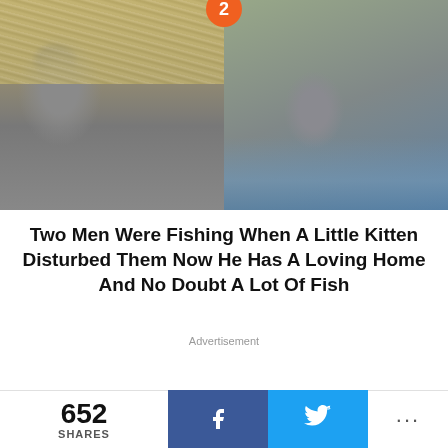[Figure (photo): Two kittens side by side — left kitten facing forward in straw/hay background, right kitten in similar outdoor setting with blue surface visible at bottom. Orange numbered badge '2' overlaid at top center.]
Two Men Were Fishing When A Little Kitten Disturbed Them Now He Has A Loving Home And No Doubt A Lot Of Fish
Advertisement
[Figure (other): Gray advertisement placeholder bar with orange numbered badge '3' overlaid at top center, and a gray scroll-to-top arrow button at the right.]
652 SHARES
f (Facebook share button)
🐦 (Twitter share button)
... (more sharing options)